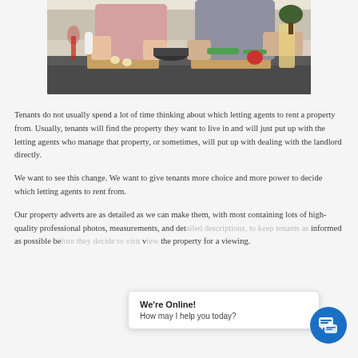[Figure (photo): Two people cooking together in a modern kitchen, chopping vegetables on a counter with pots, wine glass, and various ingredients visible.]
Tenants do not usually spend a lot of time thinking about which letting agents to rent a property from. Usually, tenants will find the property they want to live in and will just put up with the letting agents who manage that property, or sometimes, will put up with dealing with the landlord directly.
We want to see this change. We want to give tenants more choice and more power to decide which letting agents to rent from.
Our property adverts are as detailed as we can make them, with most containing lots of high-quality professional photos, measurements, and det... s informed as possible be... v the property for a viewing.
We're Online!
How may I help you today?